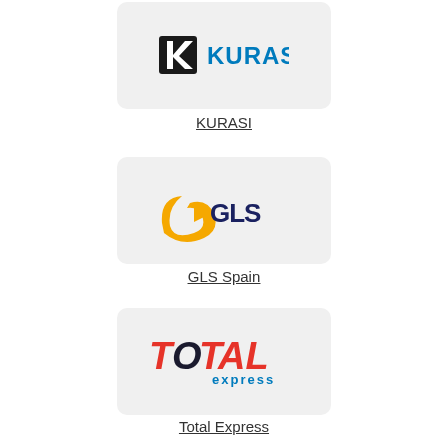[Figure (logo): KURASI company logo with stylized K icon and blue KURASI text on light gray rounded square background]
KURASI
[Figure (logo): GLS Spain carrier logo with yellow arrow swoosh and dark blue GLS text on light gray rounded square background]
GLS Spain
[Figure (logo): Total Express carrier logo with red italic TOTAL text and blue express text on light gray rounded square background]
Total Express
[Figure (logo): Fourth carrier logo partially visible at bottom, red/pink background, rounded square]